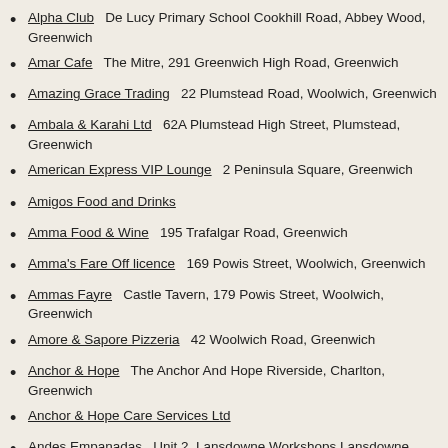Alpha Club   De Lucy Primary School Cookhill Road, Abbey Wood, Greenwich
Amar Cafe   The Mitre, 291 Greenwich High Road, Greenwich
Amazing Grace Trading   22 Plumstead Road, Woolwich, Greenwich
Ambala & Karahi Ltd   62A Plumstead High Street, Plumstead, Greenwich
American Express VIP Lounge   2 Peninsula Square, Greenwich
Amigos Food and Drinks
Amma Food & Wine   195 Trafalgar Road, Greenwich
Amma's Fare Off licence   169 Powis Street, Woolwich, Greenwich
Ammas Fayre   Castle Tavern, 179 Powis Street, Woolwich, Greenwich
Amore & Sapore Pizzeria   42 Woolwich Road, Greenwich
Anchor & Hope   The Anchor And Hope Riverside, Charlton, Greenwich
Anchor & Hope Care Services Ltd
Andes Empanadas   Unit 2, Lansdowne Workshops Lansdowne Mews, Charlton, Greenwich
Andy Epps   Woolwich Open Air Market Beresford Square, Woolwich, Greenwich
ANELL FOODS
Anell Foods   1B Woolwich New Road, Woolwich, Greenwich
Angel Bakes Cupcakes
Angels Bakery   113 Nathan Way, Thamesmead, Greenwich